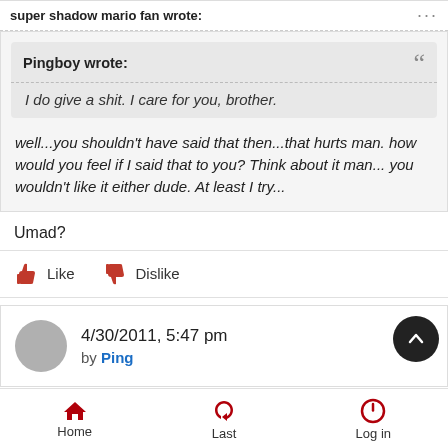super shadow mario fan wrote:
Pingboy wrote: “”
I do give a shit. I care for you, brother.
well...you shouldn't have said that then...that hurts man. how would you feel if I said that to you? Think about it man... you wouldn't like it either dude. At least I try...
Umad?
Like   Dislike
4/30/2011, 5:47 pm
by Ping
Home   Last   Log in